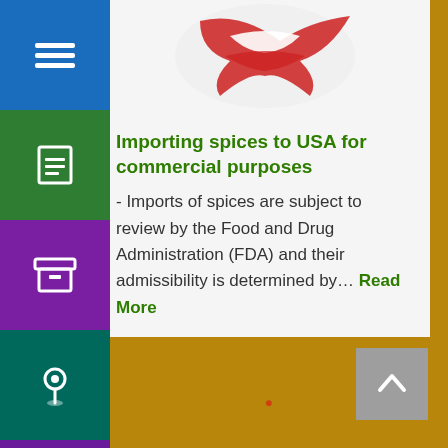[Figure (screenshot): Website sidebar navigation with colored icon buttons: blue menu (hamburger), green document, purple archive/box, teal location pin, violet search/magnifier icons]
[Figure (photo): Partial image of a decorative eagle or bird figure with red and white colors on a light background, at the top of the article card]
Importing spices to USA for commercial purposes
- Imports of spices are subject to review by the Food and Drug Administration (FDA) and their admissibility is determined by... Read More